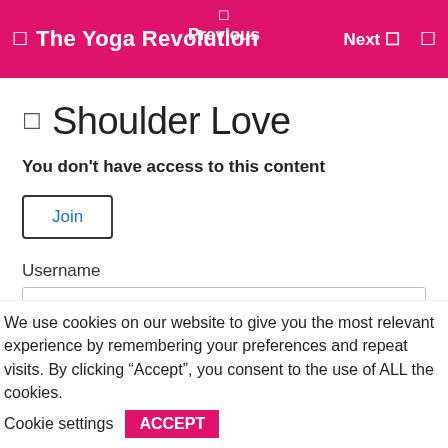The Yoga Revolution  Previous  Next
Shoulder Love
You don't have access to this content
Join
Username
Password
We use cookies on our website to give you the most relevant experience by remembering your preferences and repeat visits. By clicking “Accept”, you consent to the use of ALL the cookies.
Cookie settings  ACCEPT